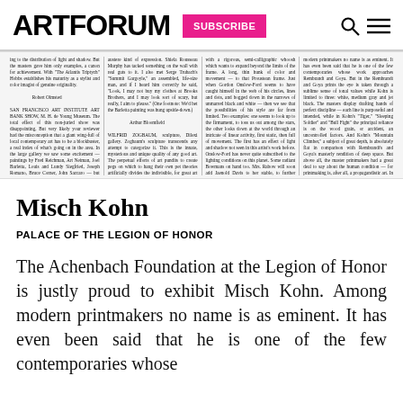ARTFORUM  SUBSCRIBE
[Figure (screenshot): Newspaper clipping with four columns of small text, showing reviews from Artforum magazine including mentions of San Francisco Art Institute Art Bank Show, WILFRID ZOGBAUM sculpture, Angelo Ippolito, and other art reviews. Bylines include Robert Olmsted and Arthur Bloomfield.]
Misch Kohn
PALACE OF THE LEGION OF HONOR
The Achenbach Foundation at the Legion of Honor is justly proud to exhibit Misch Kohn. Among modern printmakers no name is as eminent. It has even been said that he is one of the few contemporaries whose work approaches Rembrandt and Goya.